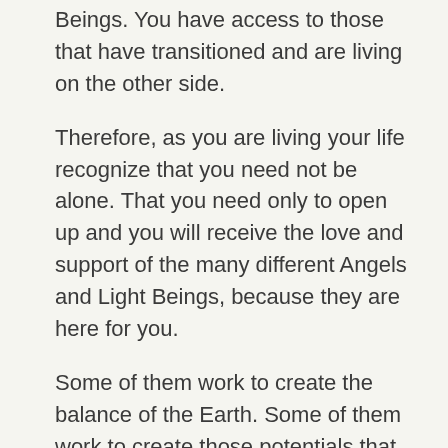Beings. You have access to those that have transitioned and are living on the other side.
Therefore, as you are living your life recognize that you need not be alone. That you need only to open up and you will receive the love and support of the many different Angels and Light Beings, because they are here for you.
Some of them work to create the balance of the Earth. Some of them work to create those potentials that people will then integrate into their lives. However, any one of them will also come and work directly with you one on one.
Sometimes people will feel that the Archangels are those that are closer to the Earth's vibration and